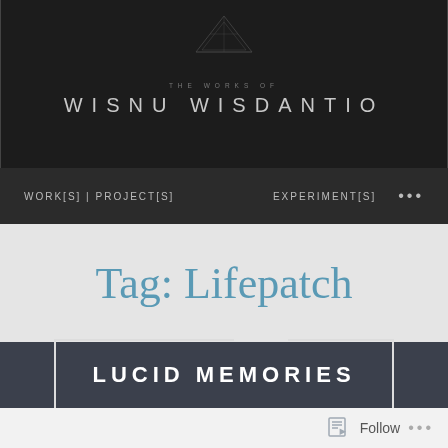THE WORKS OF WISNU WISDANTIO
WORK[S] | PROJECT[S]   EXPERIMENT[S]   ...
Tag: Lifepatch
LUCID MEMORIES
Follow ...